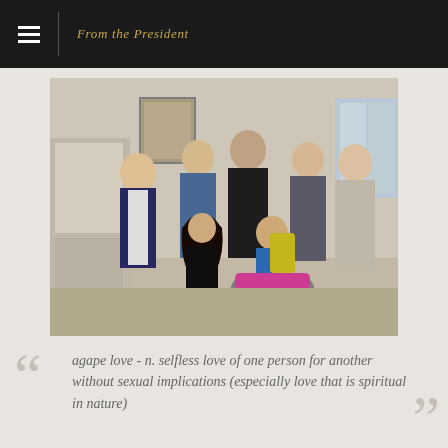From the President
[Figure (photo): Group photo of approximately 8 people indoors, including a person in a wheelchair in the foreground with a young woman kneeling beside them, and several adults standing behind.]
agape love - n. selfless love of one person for another without sexual implications (especially love that is spiritual in nature)